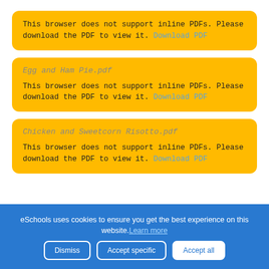This browser does not support inline PDFs. Please download the PDF to view it. Download PDF
Egg and Ham Pie.pdf
This browser does not support inline PDFs. Please download the PDF to view it. Download PDF
Chicken and Sweetcorn Risotto.pdf
This browser does not support inline PDFs. Please download the PDF to view it. Download PDF
eSchools uses cookies to ensure you get the best experience on this website. Learn more
Dismiss | Accept specific | Accept all